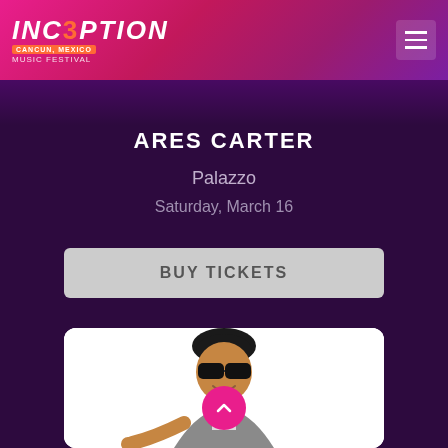INCEPTION MUSIC FESTIVAL — CANCUN, MEXICO
ARES CARTER
Palazzo
Saturday, March 16
BUY TICKETS
[Figure (photo): Photo of a DJ wearing sunglasses, smiling and pointing forward, with a pink scroll-up button overlay]